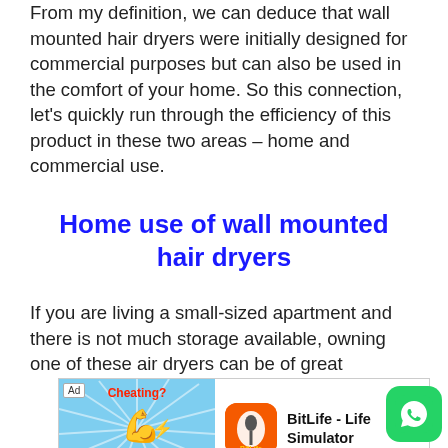From my definition, we can deduce that wall mounted hair dryers were initially designed for commercial purposes but can also be used in the comfort of your home. So this connection, let's quickly run through the efficiency of this product in these two areas – home and commercial use.
Home use of wall mounted hair dryers
If you are living a small-sized apartment and there is not much storage available, owning one of these air dryers can be of great
[Figure (infographic): Advertisement banner for BitLife - Life Simulator app with 'Ad' badge, showing a flexing arm graphic with 'Cheating? Or creative winning?' text on blue background, BitLife app icon, and Install button. A WhatsApp button appears in the bottom right corner.]